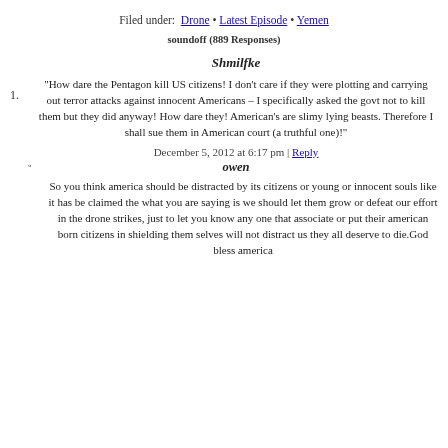Filed under: Drone • Latest Episode • Yemen
soundoff (889 Responses)
1.
Shmilfke
"How dare the Pentagon kill US citizens! I don't care if they were plotting and carrying out terror attacks against innocent Americans – I specifically asked the govt not to kill them but they did anyway! How dare they! American's are slimy lying beasts. Therefore I shall sue them in American court (a truthful one)!"
December 5, 2012 at 6:17 pm | Reply
owen
So you think america should be distracted by its citizens or young or innocent souls like it has be claimed the what you are saying is we should let them grow or defeat our effort in the drone strikes, just to let you know any one that associate or put their american born citizens in shielding them selves will not distract us they all deserve to die.God bless america